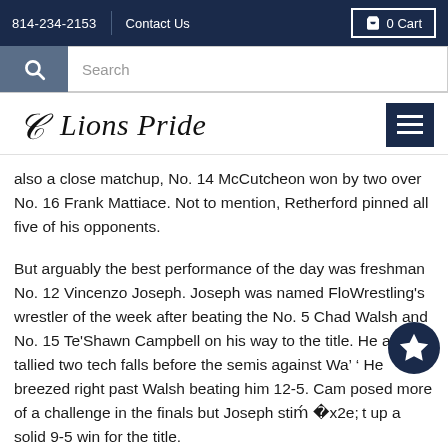814-234-2153  Contact Us  0 Cart
[Figure (screenshot): Search bar with magnifying glass icon and text input field]
Lions Pride
also a close matchup, No. 14 McCutcheon won by two over No. 16 Frank Mattiace. Not to mention, Retherford pinned all five of his opponents.
But arguably the best performance of the day was freshman No. 12 Vincenzo Joseph. Joseph was named FloWrestling's wrestler of the week after beating the No. 5 Chad Walsh and No. 15 Te'Shawn Campbell on his way to the title. He also tallied two tech falls before the semis against Wa' ' He breezed right past Walsh beating him 12-5. Cam posed more of a challenge in the finals but Joseph stiᴾᴾt up a solid 9-5 win for the title.